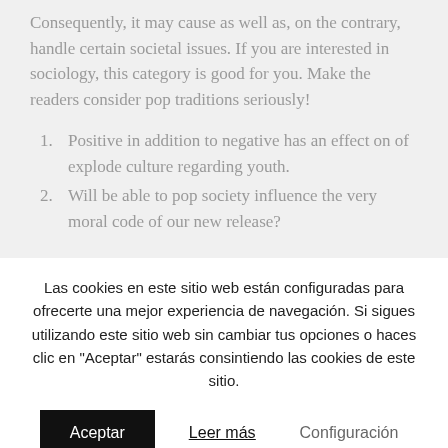Consequently, it may cause as well as, on the contrary, handle certain societal issues. If you are interested in sociology, this category is good for you. Make the readers consider pop traditions seriously!
1. Positive in addition to negative has an effect on of explode culture regarding youth.
2. Will be able to pop society influence the very moral code of our new release?
Las cookies en este sitio web están configuradas para ofrecerte una mejor experiencia de navegación. Si sigues utilizando este sitio web sin cambiar tus opciones o haces clic en "Aceptar" estarás consintiendo las cookies de este sitio.
Aceptar | Leer más | Configuración